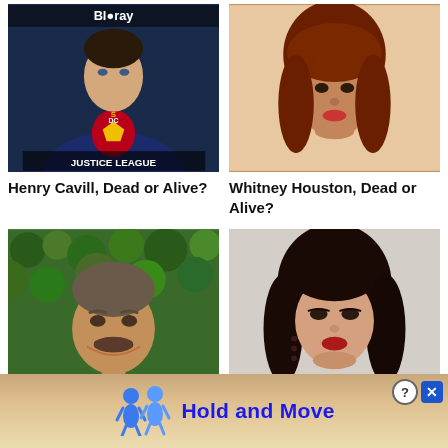[Figure (photo): Henry Cavill as Superman on a Blu-ray magazine cover with 'Justice League' text]
[Figure (photo): Whitney Houston portrait photo with auburn hair]
Henry Cavill, Dead or Alive?
Whitney Houston, Dead or Alive?
[Figure (photo): Tom Selleck portrait photo with mustache in front of green hedge]
[Figure (photo): Mila Kunis portrait photo with dark hair]
Tom Selleck, Dead or Alive?
Mila Kunis, Dead or Alive?
[Figure (screenshot): Advertisement banner: Hold and Move app with blue figure icons, question mark button and X close button]